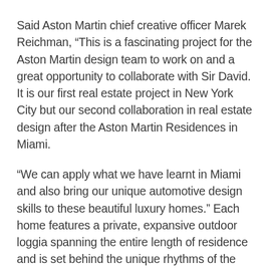Said Aston Martin chief creative officer Marek Reichman, “This is a fascinating project for the Aston Martin design team to work on and a great opportunity to collaborate with Sir David. It is our first real estate project in New York City but our second collaboration in real estate design after the Aston Martin Residences in Miami.
“We can apply what we have learnt in Miami and also bring our unique automotive design skills to these beautiful luxury homes.” Each home features a private, expansive outdoor loggia spanning the entire length of residence and is set behind the unique rhythms of the hand-cast building façade with bespoke screens dividing the balconies into a series of distinct zones for dining and relaxing.